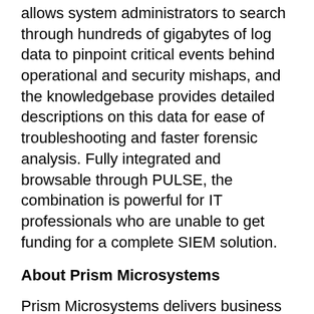allows system administrators to search through hundreds of gigabytes of log data to pinpoint critical events behind operational and security mishaps, and the knowledgebase provides detailed descriptions on this data for ease of troubleshooting and faster forensic analysis. Fully integrated and browsable through PULSE, the combination is powerful for IT professionals who are unable to get funding for a complete SIEM solution.
About Prism Microsystems
Prism Microsystems delivers business critical solutions that transform high-volume cryptic log data into actionable, prioritized intelligence that will fundamentally change your perception of the utility, value and organizational potential inherent in log files. Prism's leading solutions offer Security Information and Event Management (SIEM), real-time Log Management, and powerful Change and Configuration Management to optimize IT operations, detect and deter costly security breaches, and comply with multiple regulatory mandates